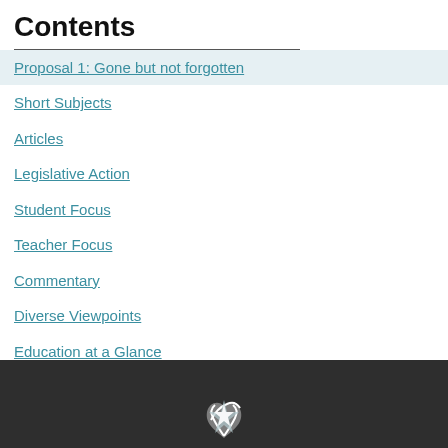Contents
Proposal 1: Gone but not forgotten
Short Subjects
Articles
Legislative Action
Student Focus
Teacher Focus
Commentary
Diverse Viewpoints
Education at a Glance